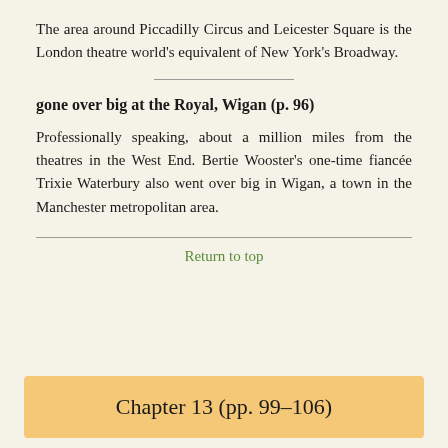The area around Piccadilly Circus and Leicester Square is the London theatre world’s equivalent of New York’s Broadway.
gone over big at the Royal, Wigan (p. 96)
Professionally speaking, about a million miles from the theatres in the West End. Bertie Wooster’s one-time fiancée Trixie Waterbury also went over big in Wigan, a town in the Manchester metropolitan area.
Return to top
Chapter 13 (pp. 99–106)